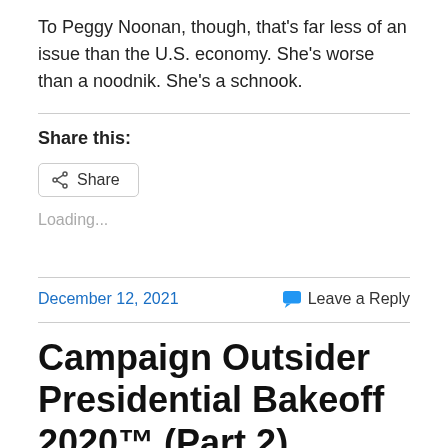To Peggy Noonan, though, that's far less of an issue than the U.S. economy. She's worse than a noodnik. She's a schnook.
Share this:
Loading...
December 12, 2021
Leave a Reply
Campaign Outsider Presidential Bakeoff 2020™ (Part 2)